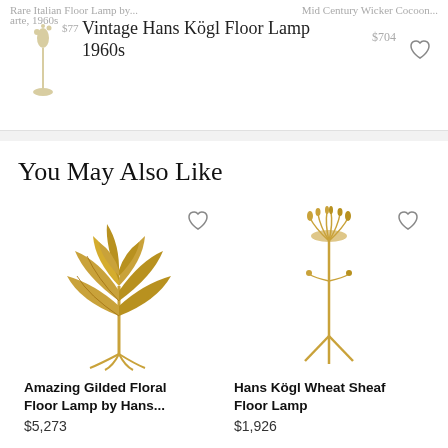Vintage Hans Kögl Floor Lamp 1960s
You May Also Like
[Figure (photo): Gold gilded floral floor lamp with large leaf shapes, ornate metalwork]
Amazing Gilded Floral Floor Lamp by Hans...
$5,273
[Figure (photo): Hans Kögl wheat sheaf floor lamp, tall golden lamp with wheat/grain top on tripod base]
Hans Kögl Wheat Sheaf Floor Lamp
$1,926
[Figure (photo): Partial view of another gold floral lamp, bottom of page]
[Figure (photo): Partial view of another ornate lamp, bottom right of page]